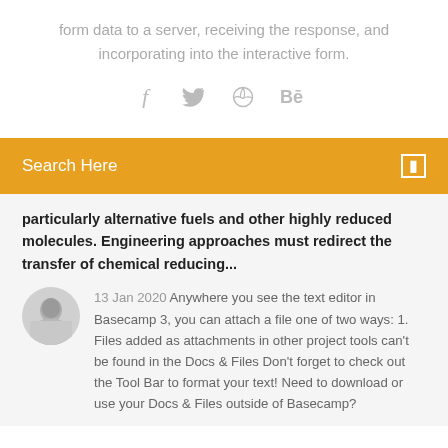form data to a server, receiving the response, and incorporating into the interactive form.
[Figure (infographic): Social media icons: Facebook (f), Twitter (bird), Dribbble (circle with lines), Behance (Be)]
Search Here
particularly alternative fuels and other highly reduced molecules. Engineering approaches must redirect the transfer of chemical reducing...
13 Jan 2020 Anywhere you see the text editor in Basecamp 3, you can attach a file one of two ways: 1. Files added as attachments in other project tools can't be found in the Docs & Files Don't forget to check out the Tool Bar to format your text! Need to download or use your Docs & Files outside of Basecamp?